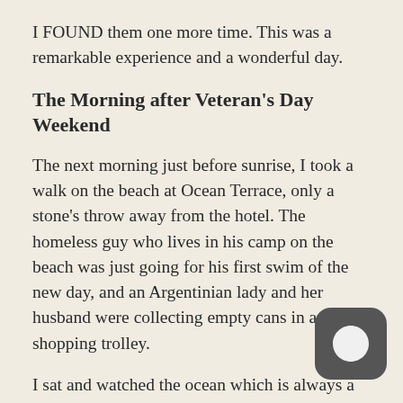I FOUND them one more time. This was a remarkable experience and a wonderful day.
The Morning after Veteran's Day Weekend
The next morning just before sunrise, I took a walk on the beach at Ocean Terrace, only a stone's throw away from the hotel. The homeless guy who lives in his camp on the beach was just going for his first swim of the new day, and an Argentinian lady and her husband were collecting empty cans in an old shopping trolley.
I sat and watched the ocean which is always a great source of inspiration for me before taking a slow wander to the water. Half buried in the sand something was sticking out, like a piece of